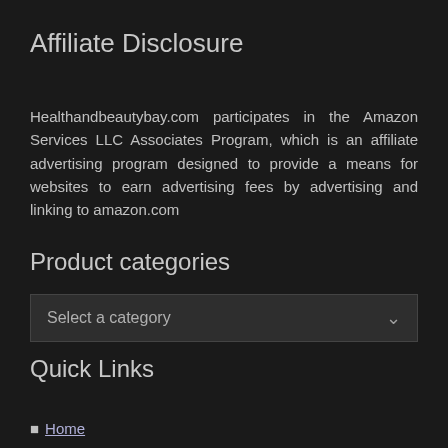Affiliate Disclosure
Healthandbeautybay.com participates in the Amazon Services LLC Associates Program, which is an affiliate advertising program designed to provide a means for websites to earn advertising fees by advertising and linking to amazon.com
Product categories
Select a category
Quick Links
Home